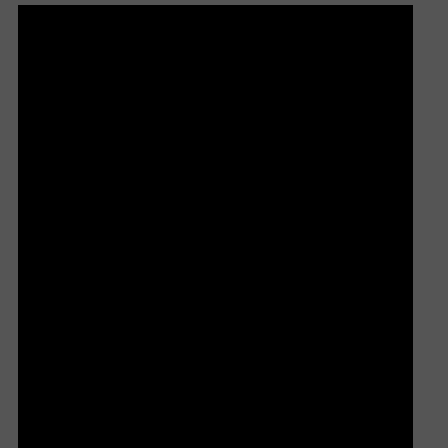[Figure (photo): Black rectangular image panel on the left side of the page]
Carlo Besasie ...Bob Beasley / Gambada Sata
Jenny Bogosian ...Princess Gambada
Brian Boldt ...Ponti Assassination Bystander
Joni Bosley ...Ponti Assassination Bystander
Christian Calle ...Christian
Susan L. Cane ...Dionysis Devotee
Benjamin Chadwick ...Ponti Assassination Bys
Manish Chander ...The Advocate
Steve Concotelli ...Satano #9 / Missile Comma
Robert E. Czeczok ...Ponti Assassination Bysta
Tiffany Czeczok ...Ponti Assassination Bystand
Teddy Damage ...Himself
Eric de la Cruz ...Detective Sergeant Mulcahy
Tony Domke ...Lord Kurik
Paul Economon ...Cardinal 'X'
Gary Evenson ...Deke, Missile Command Troo
Sharon Feiner ...Satano #10
Janell Frieson ...Ponti Assassination Bystande
Greg Gronemus ...Satano #11 / Dionysis Devo
Randy Guski ...Randy, Missile Command Troo
Tim Guski ...Gus, Missile Command Trooper
Priya Hamilton Wilkes ...Ponti Assassination B Hubbard)
Rick Hanson ...Satano #4
Jennifer Heagle ...Drunk Satano
» [more cast members]
Producer(s):
Michael J. Heagle
Troy Antoine LaFaye